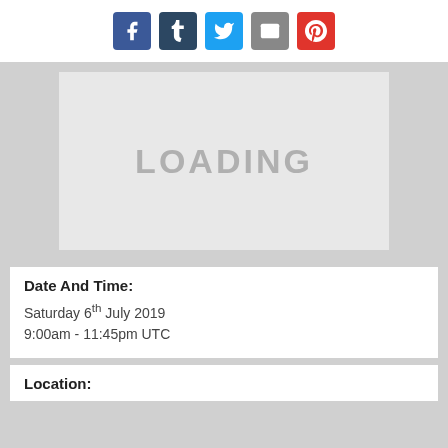[Figure (other): Social media sharing icons: Facebook (blue), Tumblr (dark blue), Twitter (light blue), Email (gray), Pinterest (red)]
[Figure (other): Gray loading placeholder box with text 'LOADING' in center]
Date And Time:
Saturday 6th July 2019
9:00am - 11:45pm UTC
Location: